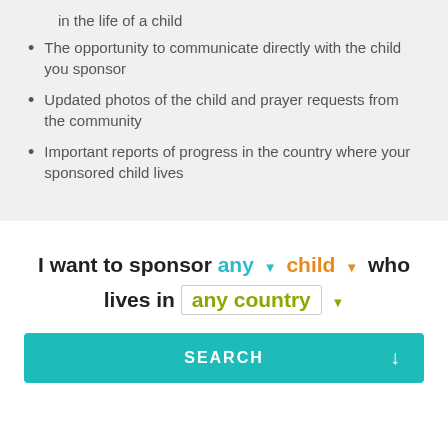in the life of a child
The opportunity to communicate directly with the child you sponsor
Updated photos of the child and prayer requests from the community
Important reports of progress in the country where your sponsored child lives
I want to sponsor any child who lives in any country
SEARCH